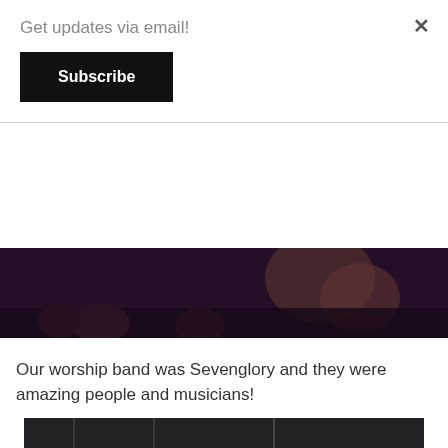Get updates via email!
Subscribe
[Figure (photo): Partially visible dark photo of people at a concert or event, cropped at top of frame]
Our worship band was Sevenglory and they were amazing people and musicians!
[Figure (photo): Dark venue interior with stage lighting rigs, microphone stands, and people gathered — concert/worship event scene]